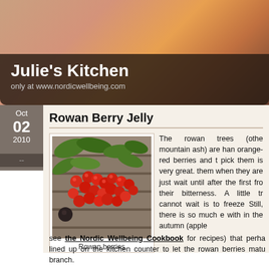Julie's Kitchen
only at www.nordicwellbeing.com
Rowan Berry Jelly
[Figure (photo): Photo of red rowan berries on a branch with green leaves against a stone background]
Rowan berries
The rowan trees (othe mountain ash) are han orange-red berries and t pick them is very great. them when they are just wait until after the first fro their bitterness. A little tr cannot wait is to freeze Still, there is so much e with in the autumn (apple see the Nordic Wellbeing Cookbook for recipes) that perha lined up on the kitchen counter to let the rowan berries matu branch.
Oct 02 2010